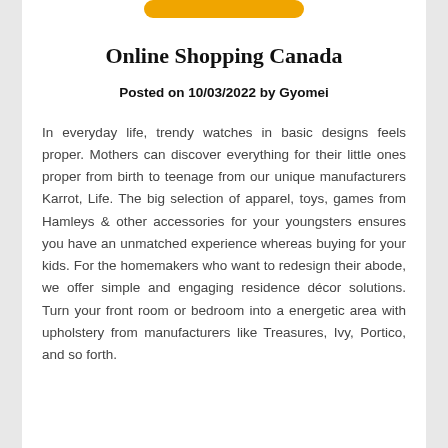Online Shopping Canada
Posted on 10/03/2022 by Gyomei
In everyday life, trendy watches in basic designs feels proper. Mothers can discover everything for their little ones proper from birth to teenage from our unique manufacturers Karrot, Life. The big selection of apparel, toys, games from Hamleys & other accessories for your youngsters ensures you have an unmatched experience whereas buying for your kids. For the homemakers who want to redesign their abode, we offer simple and engaging residence décor solutions. Turn your front room or bedroom into a energetic area with upholstery from manufacturers like Treasures, Ivy, Portico, and so forth.